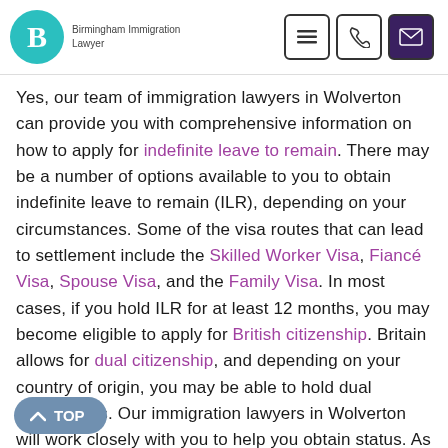Birmingham Immigration Lawyer — navigation header with logo and icons
Yes, our team of immigration lawyers in Wolverton can provide you with comprehensive information on how to apply for indefinite leave to remain. There may be a number of options available to you to obtain indefinite leave to remain (ILR), depending on your circumstances. Some of the visa routes that can lead to settlement include the Skilled Worker Visa, Fiancé Visa, Spouse Visa, and the Family Visa. In most cases, if you hold ILR for at least 12 months, you may become eligible to apply for British citizenship. Britain allows for dual citizenship, and depending on your country of origin, you may be able to hold dual nationalities. Our immigration lawyers in Wolverton will work closely with you to help you obtain status. As an important milestone in your life and the of your family members, we commit to supporting